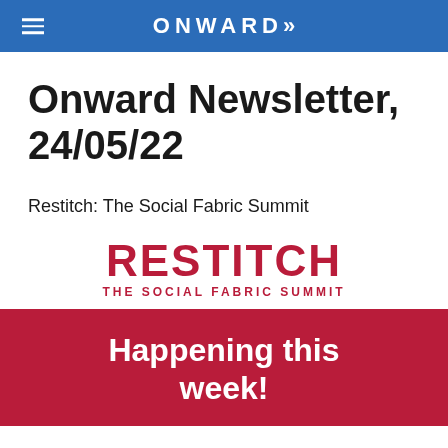ONWARD»
Onward Newsletter, 24/05/22
Restitch: The Social Fabric Summit
[Figure (logo): RESTITCH THE SOCIAL FABRIC SUMMIT logo in dark red/crimson text]
[Figure (infographic): Dark red/crimson banner with white bold text reading 'Happening this week!']